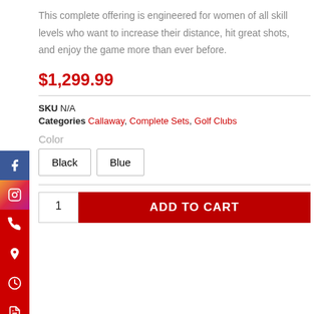This complete offering is engineered for women of all skill levels who want to increase their distance, hit great shots, and enjoy the game more than ever before.
$1,299.99
SKU N/A
Categories Callaway, Complete Sets, Golf Clubs
Color
Black
Blue
ADD TO CART